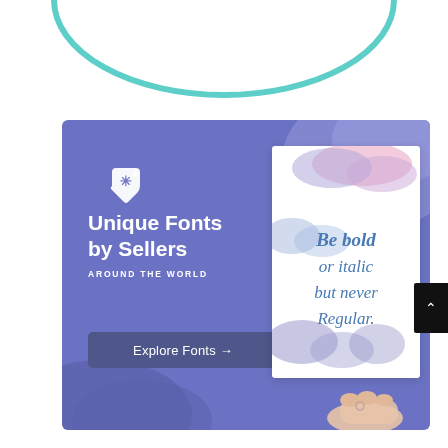[Figure (illustration): Teal/mint colored circular arc or ring shape at the top of the page, partially visible, on white background.]
[Figure (infographic): Advertisement banner with purple/periwinkle background featuring a price-tag icon with asterisk, text 'Unique Fonts by Sellers AROUND THE WORLD', an 'Explore Fonts →' button, watercolor-style blobs, and a white card being held by a hand showing calligraphy text 'Be bold or italic but never Regular.' A small black scroll-up button is at the right edge.]